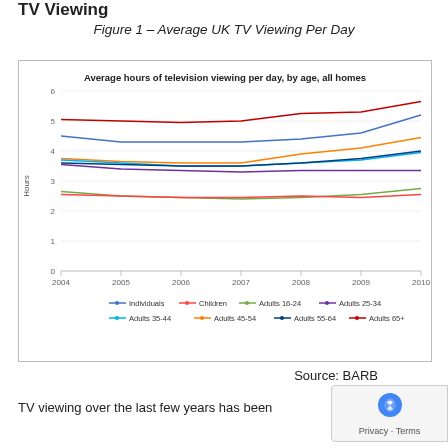TV Viewing
Figure 1 – Average UK TV Viewing Per Day
[Figure (line-chart): Average hours of television viewing per day, by age, all homes]
Source: BARB
TV viewing over the last few years has been